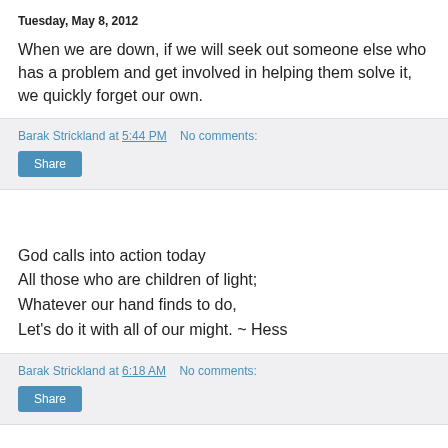Tuesday, May 8, 2012
When we are down, if we will seek out someone else who has a problem and get involved in helping them solve it, we quickly forget our own.
Barak Strickland at 5:44 PM   No comments:
Share
God calls into action today
All those who are children of light;
Whatever our hand finds to do,
Let's do it with all of our might. ~ Hess
Barak Strickland at 6:18 AM   No comments:
Share